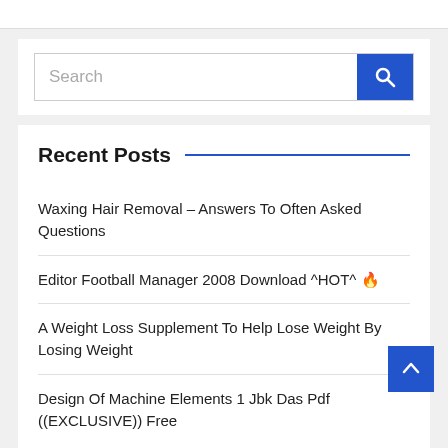[Figure (screenshot): Search bar with placeholder text 'Search' and blue search button with magnifying glass icon]
Recent Posts
Waxing Hair Removal – Answers To Often Asked Questions
Editor Football Manager 2008 Download ^HOT^ 🔥
A Weight Loss Supplement To Help Lose Weight By Losing Weight
Design Of Machine Elements 1 Jbk Das Pdf ((EXCLUSIVE)) Free